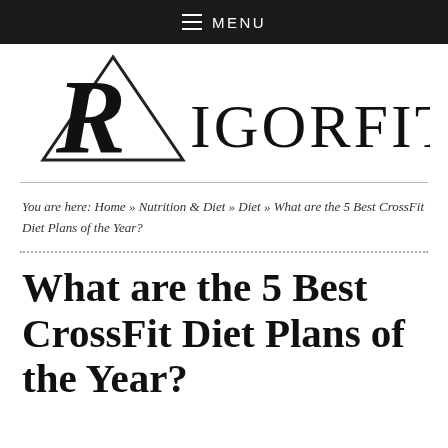≡ MENU
[Figure (logo): RigorFitness logo with stylized R inside a triangle and serif text RIGORFITNESS]
You are here: Home » Nutrition & Diet » Diet » What are the 5 Best CrossFit Diet Plans of the Year?
What are the 5 Best CrossFit Diet Plans of the Year?